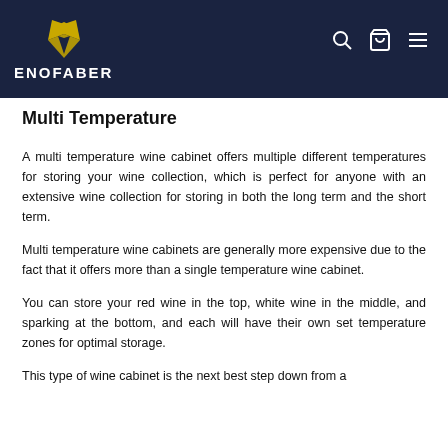ENOFABER
Multi Temperature
A multi temperature wine cabinet offers multiple different temperatures for storing your wine collection, which is perfect for anyone with an extensive wine collection for storing in both the long term and the short term.
Multi temperature wine cabinets are generally more expensive due to the fact that it offers more than a single temperature wine cabinet.
You can store your red wine in the top, white wine in the middle, and sparking at the bottom, and each will have their own set temperature zones for optimal storage.
This type of wine cabinet is the next best step down from a